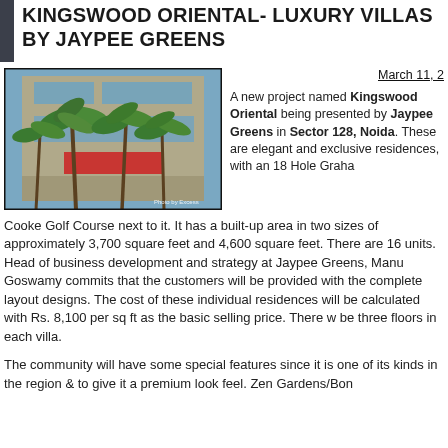KINGSWOOD ORIENTAL- LUXURY VILLAS BY JAYPEE GREENS
[Figure (photo): Exterior of a modern multi-storey building with tall palm trees in the foreground and glass facade. Photo credit watermark visible in lower right corner.]
March 11, 2
A new project named Kingswood Oriental being presented by Jaypee Greens in Sector 128, Noida. These are elegant and exclusive residences, with an 18 Hole Graham Cooke Golf Course next to it. It has a built-up area in two sizes of approximately 3,700 square feet and 4,600 square feet. There are 16 units. Head of business development and strategy at Jaypee Greens, Manu Goswamy commits that the customers will be provided with the complete layout designs. The cost of these individual residences will be calculated with Rs. 8,100 per sq ft as the basic selling price. There will be three floors in each villa.
The community will have some special features since it is one of its kinds in the region & to give it a premium look feel. Zen Gardens/Bon